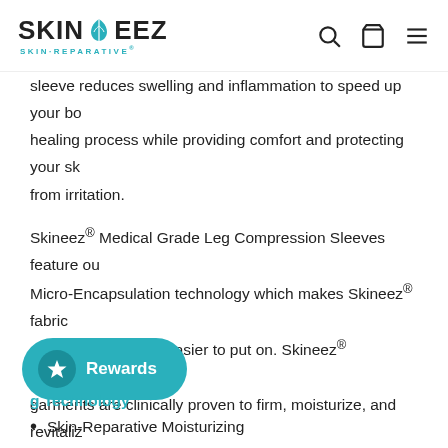SKINEEZ SKIN-REPARATIVE® [logo] [search] [bag] [menu]
sleeve reduces swelling and inflammation to speed up your body's healing process while providing comfort and protecting your skin from irritation.
Skineez® Medical Grade Leg Compression Sleeves feature our Micro-Encapsulation technology which makes Skineez® fabric soft, supple, so it is easier to put on. Skineez® compression garments are clinically proven to firm, moisturize, and revitalize skin. Ultra-soft, breathable material protects your skin for all-day wear.
[Figure (other): Rewards button with star icon and teal background]
g Technology
Skin-Reparative Moisturizing